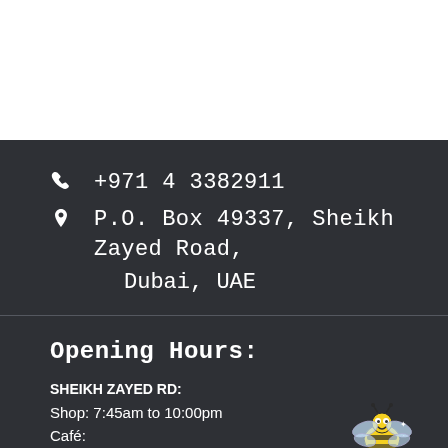+971 4 3382911
P.O. Box 49337, Sheikh Zayed Road, Dubai, UAE
Opening Hours:
SHEIKH ZAYED RD:
Shop: 7:45am to 10:00pm
Café:
Café: 7.45am to 9.00pm (Last order 8.15pm)
[Figure (illustration): Cartoon bee illustration with yellow and black stripes, wings, and eyes]